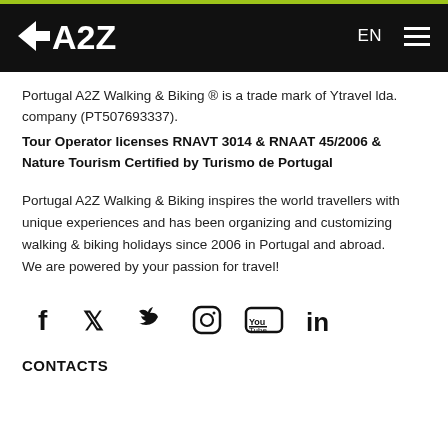SA2Z  EN  ☰
Portugal A2Z Walking & Biking ® is a trade mark of Ytravel lda. company (PT507693337).
Tour Operator licenses RNAVT 3014 & RNAAT 45/2006 & Nature Tourism Certified by Turismo de Portugal
Portugal A2Z Walking & Biking inspires the world travellers with unique experiences and has been organizing and customizing walking & biking holidays since 2006 in Portugal and abroad.
We are powered by your passion for travel!
[Figure (other): Social media icons row: Facebook, Twitter, Instagram, YouTube, LinkedIn]
CONTACTS